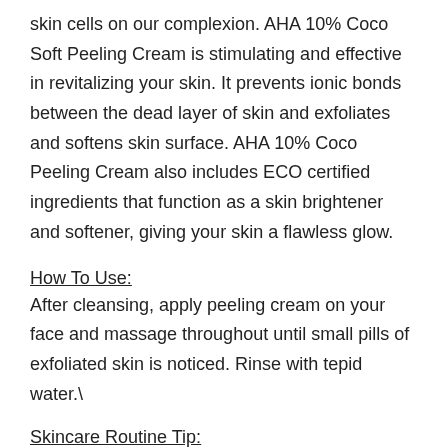skin cells on our complexion. AHA 10% Coco Soft Peeling Cream is stimulating and effective in revitalizing your skin. It prevents ionic bonds between the dead layer of skin and exfoliates and softens skin surface. AHA 10% Coco  Peeling Cream also includes ECO certified ingredients that function as a skin brightener and softener, giving your skin a flawless glow.
How To Use:
After cleansing, apply peeling cream on your face and massage throughout until small pills of exfoliated skin is noticed. Rinse with tepid water.\
Skincare Routine Tip:
Cleaser -> Toner -> Essence -> Emulsion -> Day/Night Cream -> Eye Cream